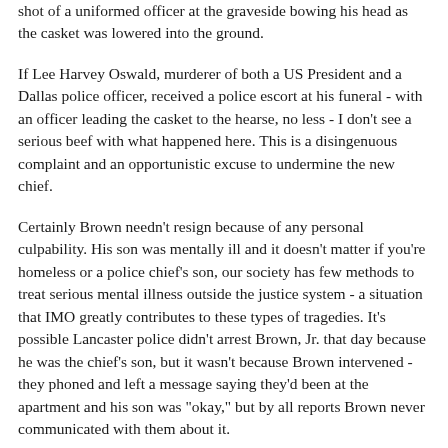shot of a uniformed officer at the graveside bowing his head as the casket was lowered into the ground.
If Lee Harvey Oswald, murderer of both a US President and a Dallas police officer, received a police escort at his funeral - with an officer leading the casket to the hearse, no less - I don't see a serious beef with what happened here. This is a disingenuous complaint and an opportunistic excuse to undermine the new chief.
Certainly Brown needn't resign because of any personal culpability. His son was mentally ill and it doesn't matter if you're homeless or a police chief's son, our society has few methods to treat serious mental illness outside the justice system - a situation that IMO greatly contributes to these types of tragedies. It's possible Lancaster police didn't arrest Brown, Jr. that day because he was the chief's son, but it wasn't because Brown intervened - they phoned and left a message saying they'd been at the apartment and his son was "okay," but by all reports Brown never communicated with them about it.